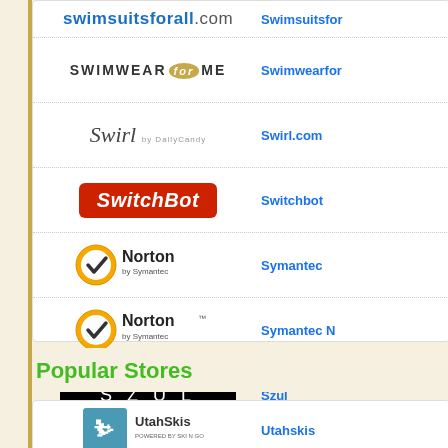[Figure (logo): Swimsuitsforall.com logo - blue bold text]
Swimsuitsfor
[Figure (logo): SWIMWEAR for ME logo with golden circle]
Swimwearfor
[Figure (logo): Swirl by DailyCandy cursive logo]
Swirl.com
[Figure (logo): SwitchBot logo red/orange bold italic]
Switchbot
[Figure (logo): Norton by Symantec logo with checkmark]
Symantec
[Figure (logo): Norton by Symantec logo with checkmark]
Symantec No
[Figure (logo): SZUL black background white text logo]
Szul
Popular Stores
[Figure (logo): UtahSkis logo]
Utahskis